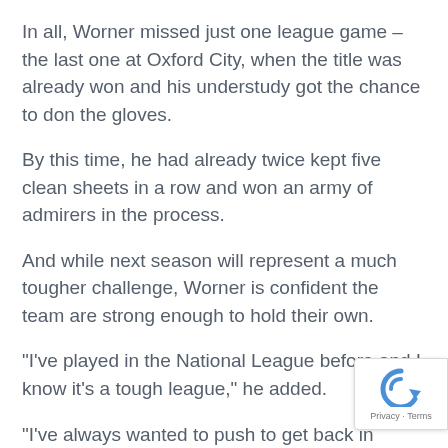In all, Worner missed just one league game – the last one at Oxford City, when the title was already won and his understudy got the chance to don the gloves.
By this time, he had already twice kept five clean sheets in a row and won an army of admirers in the process.
And while next season will represent a much tougher challenge, Worner is confident the team are strong enough to hold their own.
“I’ve played in the National League before and I know it’s a tough league,” he added.
“I’ve always wanted to push to get back in there, and it’s great to be a part of a team that’s don so I’m really looking forward to the start of th season.